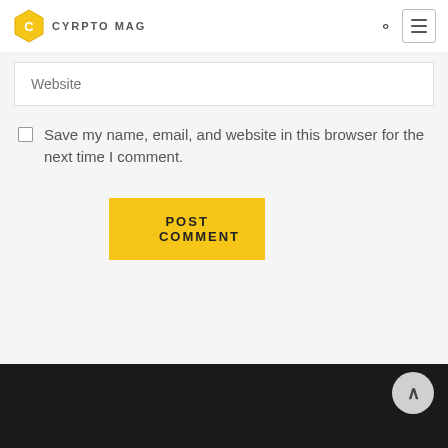CYRPTO MAG
Website
Save my name, email, and website in this browser for the next time I comment.
POST COMMENT